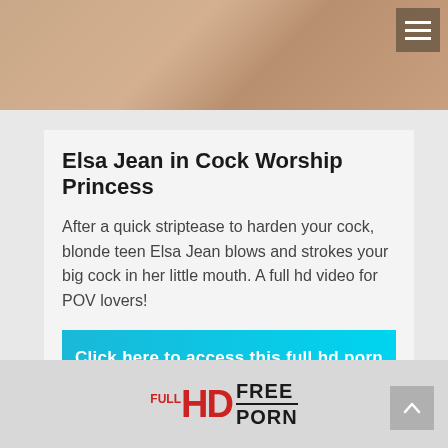[Figure (photo): Top portion of a webpage showing a photo background with a hamburger menu icon in the top-right corner]
Elsa Jean in Cock Worship Princess
After a quick striptease to harden your cock, blonde teen Elsa Jean blows and strokes your big cock in her little mouth. A full hd video for POV lovers!
Click here to access this full hd porn video
February 26, 2022 / Elsa Jean, Team Skeet / By Smart Fred
[Figure (logo): HD Full Free Porn logo in footer]